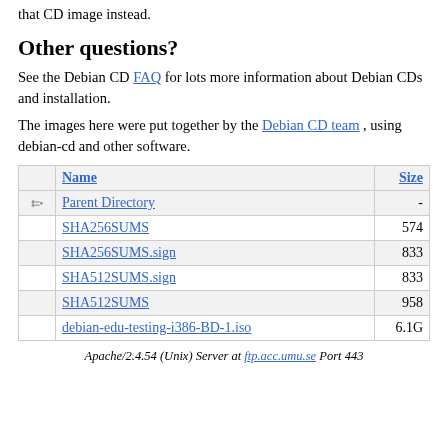that CD image instead.
Other questions?
See the Debian CD FAQ for lots more information about Debian CDs and installation.
The images here were put together by the Debian CD team , using debian-cd and other software.
|  | Name | Size |
| --- | --- | --- |
|  | Parent Directory | - |
|  | SHA256SUMS | 574 |
|  | SHA256SUMS.sign | 833 |
|  | SHA512SUMS.sign | 833 |
|  | SHA512SUMS | 958 |
|  | debian-edu-testing-i386-BD-1.iso | 6.1G |
Apache/2.4.54 (Unix) Server at ftp.acc.umu.se Port 443